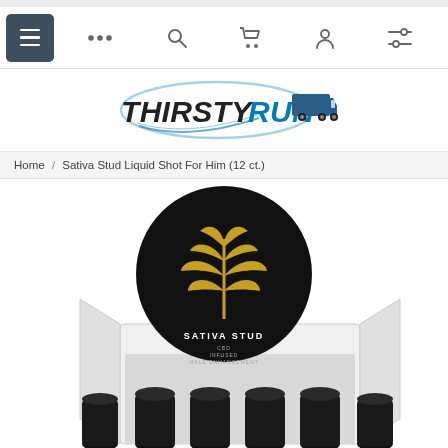Navigation bar with menu, search, cart, account, and settings icons
[Figure (logo): ThirstyRun logo with truck graphic — bold italic text THIRSTYRUN with a delivery truck icon and blue swoosh oval]
Home / Sativa Stud Liquid Shot For Him (12 ct.)
[Figure (photo): Sativa Stud product box opened showing a black circular lid with a gold cannabis leaf and text SATIVA STUD / CBD INFUSED / MALE ENHANCEMENT, with several small black shot bottles below]